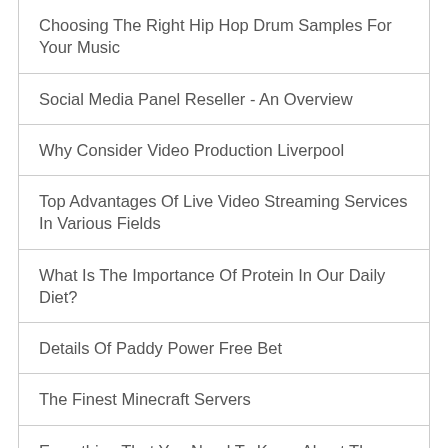Choosing The Right Hip Hop Drum Samples For Your Music
Social Media Panel Reseller - An Overview
Why Consider Video Production Liverpool
Top Advantages Of Live Video Streaming Services In Various Fields
What Is The Importance Of Protein In Our Daily Diet?
Details Of Paddy Power Free Bet
The Finest Minecraft Servers
Everything That You Need To Know About The Antioxidants